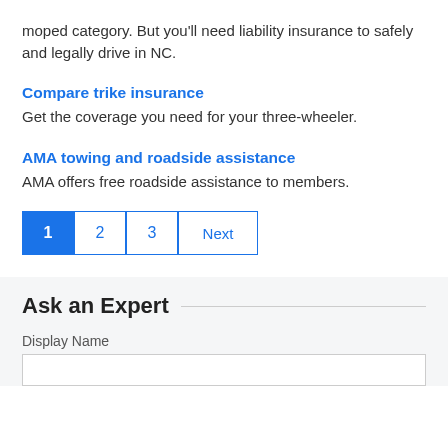moped category. But you'll need liability insurance to safely and legally drive in NC.
Compare trike insurance
Get the coverage you need for your three-wheeler.
AMA towing and roadside assistance
AMA offers free roadside assistance to members.
1  2  3  Next
Ask an Expert
Display Name